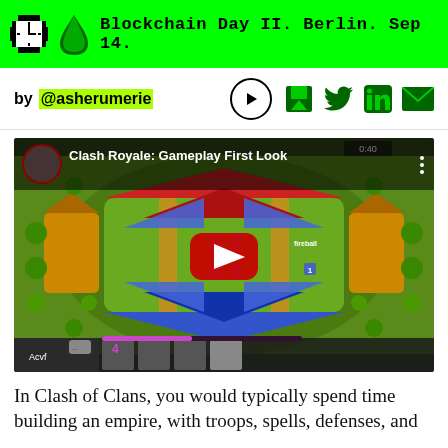Blockchain Day II. Berlin. Sep 14.
by @asherumerie
[Figure (screenshot): YouTube video thumbnail for 'Clash Royale: Gameplay First Look' showing an aerial view of the Clash Royale game arena with a red YouTube play button overlay in the center.]
In Clash of Clans,  you would typically spend time building an empire, with troops, spells, defenses, and